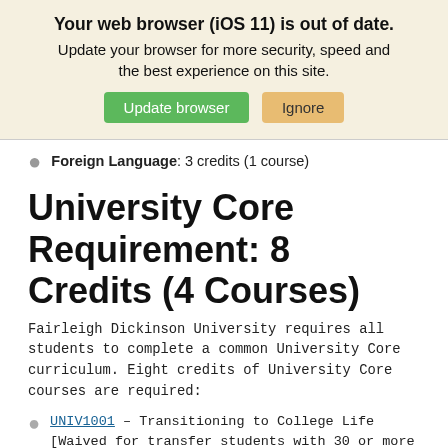[Figure (screenshot): Browser update notification banner with title 'Your web browser (iOS 11) is out of date.' and buttons 'Update browser' and 'Ignore']
Foreign Language: 3 credits (1 course)
University Core Requirement: 8 Credits (4 Courses)
Fairleigh Dickinson University requires all students to complete a common University Core curriculum. Eight credits of University Core courses are required:
UNIV1001 – Transitioning to College Life [Waived for transfer students with 30 or more credits (plus 2 additional FE transfer credits if room)]
UNIV1002 – Preparing for Professional Life [Waived for